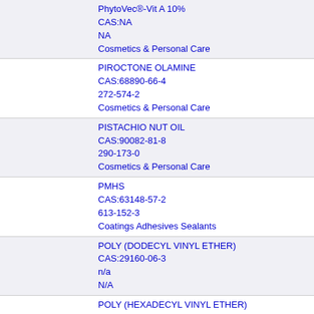PhytoVec®-Vit A 10%
CAS:NA
NA
Cosmetics & Personal Care
PIROCTONE OLAMINE
CAS:68890-66-4
272-574-2
Cosmetics & Personal Care
PISTACHIO NUT OIL
CAS:90082-81-8
290-173-0
Cosmetics & Personal Care
PMHS
CAS:63148-57-2
613-152-3
Coatings Adhesives Sealants
POLY (DODECYL VINYL ETHER)
CAS:29160-06-3
n/a
N/A
POLY (HEXADECYL VINYL ETHER)
CAS:9015-50-3
n/a
N/A
POLY (ISOBUTYL VINYL ETHER)
CAS:9003-44-5
n/a
N/A
POLY (N-OCTYL VINYL ETHER)
CAS:N/A